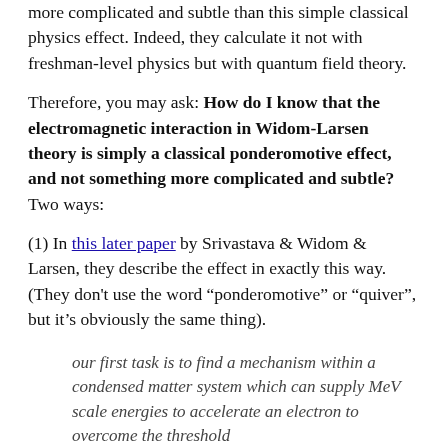more complicated and subtle than this simple classical physics effect. Indeed, they calculate it not with freshman-level physics but with quantum field theory.
Therefore, you may ask: How do I know that the electromagnetic interaction in Widom-Larsen theory is simply a classical ponderomotive effect, and not something more complicated and subtle? Two ways:
(1) In this later paper by Srivastava & Widom & Larsen, they describe the effect in exactly this way. (They don't use the word “ponderomotive” or “quiver”, but it’s obviously the same thing).
our first task is to find a mechanism within a condensed matter system which can supply MeV scale energies to accelerate an electron to overcome the threshold